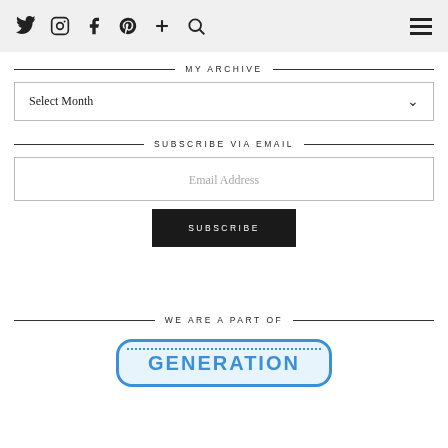Navigation bar with social icons: Twitter, Instagram, Facebook, Pinterest, Plus, Search, and hamburger menu
MY ARCHIVE
Select Month
SUBSCRIBE VIA EMAIL
Email Address
SUBSCRIBE
WE ARE A PART OF
[Figure (logo): Generation badge logo — blue rounded rectangle with dotted border and text GENERATION in blue]